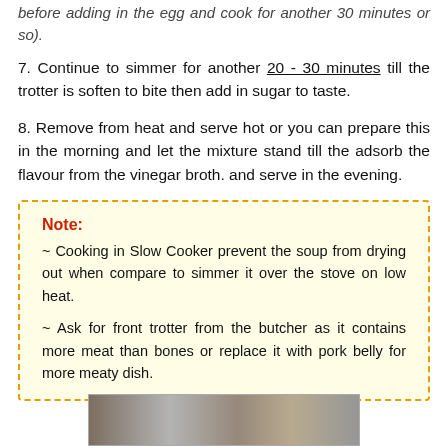before adding in the egg and cook for another 30 minutes or so).
7. Continue to simmer for another 20 - 30 minutes till the trotter is soften to bite then add in sugar to taste.
8. Remove from heat and serve hot or you can prepare this in the morning and let the mixture stand till the adsorb the flavour from the vinegar broth. and serve in the evening.
Note:
~ Cooking in Slow Cooker prevent the soup from drying out when compare to simmer it over the stove on low heat.

~ Ask for front trotter from the butcher as it contains more meat than bones or replace it with pork belly for more meaty dish.
[Figure (photo): Photo of the finished dish]